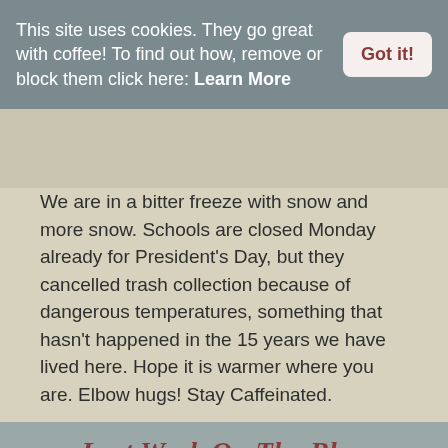This site uses cookies. They go great with coffee! To find out how, remove or block them click here: Learn More
Got it!
We are in a bitter freeze with snow and more snow. Schools are closed Monday already for President's Day, but they cancelled trash collection because of dangerous temperatures, something that hasn't happened in the 15 years we have lived here. Hope it is warmer where you are. Elbow hugs! Stay Caffeinated.
Last Week On The Blog
Layla By Colleen Hoover (audio review)
A Stranger In Town By Kelley Armstrong (book review)
The Grumpy Frumpy Croissant By Mona K. (Nonna's Corner review)